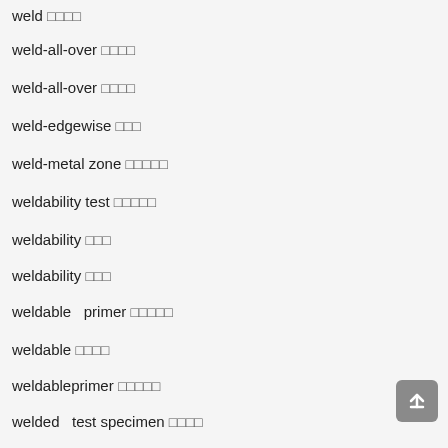weld □□□□
weld-all-over □□□□
weld-all-over □□□□
weld-edgewise □□□
weld-metal zone □□□□□
weldability test □□□□□
weldability □□□
weldability □□□
weldable  primer □□□□□
weldable □□□□
weldableprimer □□□□□
welded  test specimen □□□□